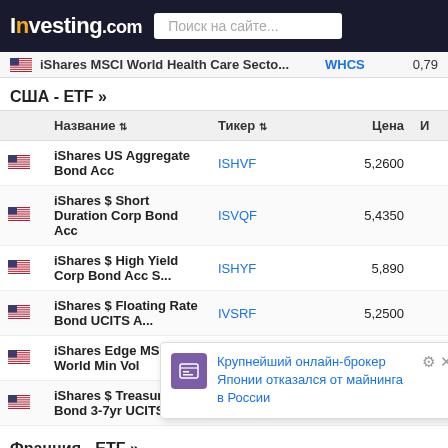Investing.com — Поиск на сайте...
iShares MSCI World Health Care Secto... WHCS 0,79
США - ETF »
| Название | Тикер | Цена | И |
| --- | --- | --- | --- |
| iShares US Aggregate Bond Acc | ISHVF | 5,2600 |  |
| iShares $ Short Duration Corp Bond Acc | ISVQF | 5,4350 |  |
| iShares $ High Yield Corp Bond Acc S... | ISHYF | 5,890 |  |
| iShares $ Floating Rate Bond UCITS A... | IVSRF | 5,2500 |  |
| iShares Edge MSCI World Min Vol | IEMXF | 57,200 |  |
| iShares $ Treasury Bond 3-7yr UCITS ... | ISZXF | 129,5250 |  |
Франция - ETF »
| Название | Тикер | Цена | И |
| --- | --- | --- | --- |
| iShares MSCI Gl... |  |  |  |
| iShares Global Clean Energy UCITS U... | INRA | 32,30 |  |
| iShares Smart City Infrastructure UCIT... | CITY1 | 6,16 |  |
| iShares China CNY Bond UCITS ETF U... | CYBA | 5,56 |  |
Крупнейший онлайн-брокер Японии отказался от майнинга в России